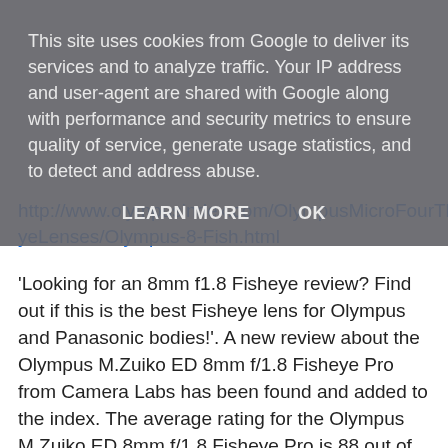This site uses cookies from Google to deliver its services and to analyze traffic. Your IP address and user-agent are shared with Google along with performance and security metrics to ensure quality of service, generate usage statistics, and to detect and address abuse.
LEARN MORE    OK
http://www.olympusindex.com/OlympusMicroFourThirdFisheyeLenses/Olympus-8-Fish.html
'Looking for an 8mm f1.8 Fisheye review? Find out if this is the best Fisheye lens for Olympus and Panasonic bodies!'. A new review about the Olympus M.Zuiko ED 8mm f/1.8 Fisheye Pro from Camera Labs has been found and added to the index. The average rating for the Olympus M.Zuiko ED 8mm f/1.8 Fisheye Pro is 88 out of 100. #Olympus #MZuiko_8mm
http://www.olympusindex.com/OlympusMicroFourThirdFisheyeLenses/Olympus-8-Fish.html
'The above was identified by Bot 1 of our automated filtering from...